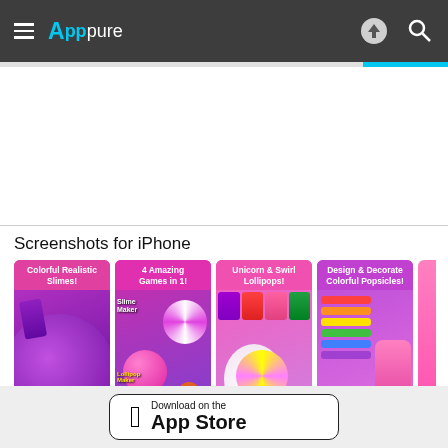Apppure
[Figure (screenshot): Advertisement area (blank white space)]
Screenshots for iPhone
[Figure (screenshot): App screenshots row: Colorful Realistic Slimes!, 4 Amazing Games in 1!, Unicorn & Swirl Lollipops!, Design & Decorate Colorful Popsicles!]
[Figure (logo): Download on the App Store button]